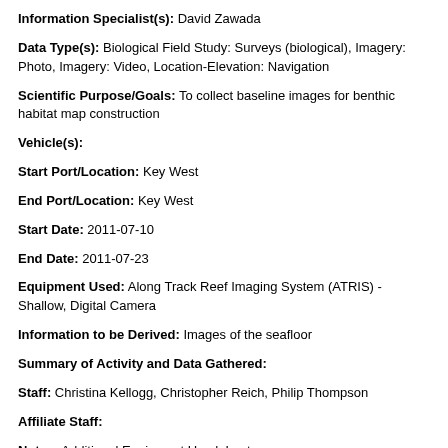Information Specialist(s): David Zawada
Data Type(s): Biological Field Study: Surveys (biological), Imagery: Photo, Imagery: Video, Location-Elevation: Navigation
Scientific Purpose/Goals: To collect baseline images for benthic habitat map construction
Vehicle(s):
Start Port/Location: Key West
End Port/Location: Key West
Start Date: 2011-07-10
End Date: 2011-07-23
Equipment Used: Along Track Reef Imaging System (ATRIS) - Shallow, Digital Camera
Information to be Derived: Images of the seafloor
Summary of Activity and Data Gathered:
Staff: Christina Kellogg, Christopher Reich, Philip Thompson
Affiliate Staff:
Notes: Additional Equipment Used: Laptop